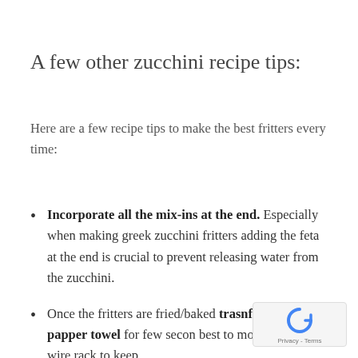A few other zucchini recipe tips:
Here are a few recipe tips to make the best fritters every time:
Incorporate all the mix-ins at the end. Especially when making greek zucchini fritters adding the feta at the end is crucial to prevent releasing water from the zucchini.
Once the fritters are fried/baked trasnfer them on a papper towel for few seconds best to move them on a wire rack to keep fritters crisp.